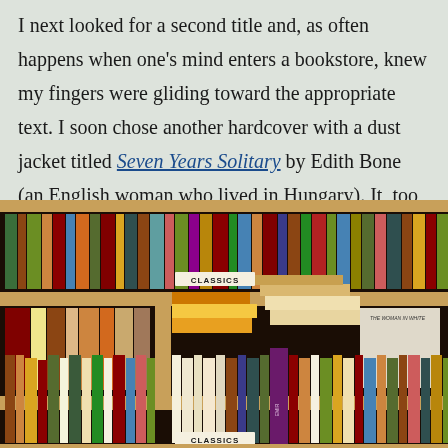I next looked for a second title and, as often happens when one's mind enters a bookstore, knew my fingers were gliding toward the appropriate text. I soon chose another hardcover with a dust jacket titled Seven Years Solitary by Edith Bone (an English woman who lived in Hungary). It, too, was about wrongful incarceration in the 1940's and 1950's.
[Figure (photo): A photograph of a wooden bookshelf filled with many books of various colors and sizes, with a 'CLASSICS' label visible on the shelf divider, and books stacked horizontally on a lower shelf including 'The Woman in White'.]